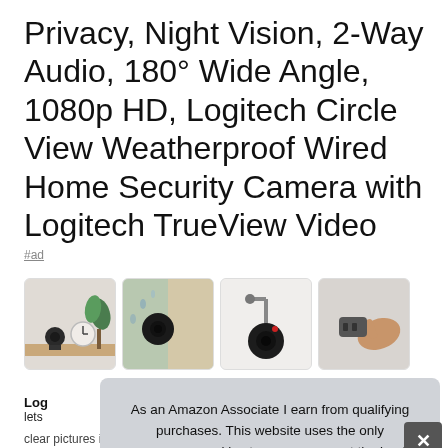Privacy, Night Vision, 2-Way Audio, 180° Wide Angle, 1080p HD, Logitech Circle View Weatherproof Wired Home Security Camera with Logitech TrueView Video
#ad
[Figure (photo): Row of four product thumbnail images: camera on desk with clock; camera mounted on wall outdoors; camera on mount bracket; camera adapter plug-in]
Logitech TrueView Video lets
clear pictures in sunlight or shadows. The ultimate solution to
As an Amazon Associate I earn from qualifying purchases. This website uses the only necessary cookies to ensure you get the best experience on our website. More information